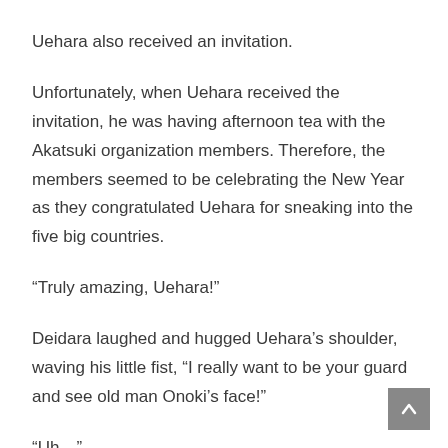Uehara also received an invitation.
Unfortunately, when Uehara received the invitation, he was having afternoon tea with the Akatsuki organization members. Therefore, the members seemed to be celebrating the New Year as they congratulated Uehara for sneaking into the five big countries.
“Truly amazing, Uehara!”
Deidara laughed and hugged Uehara’s shoulder, waving his little fist, “I really want to be your guard and see old man Onoki’s face!”
“Uh…”